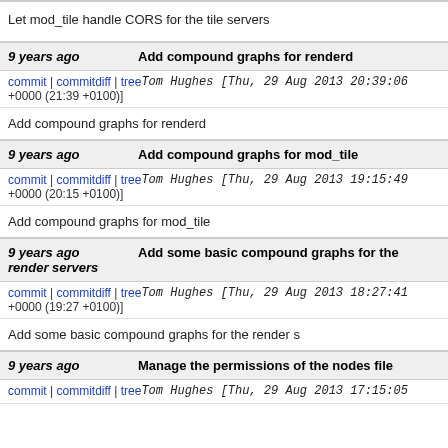Let mod_tile handle CORS for the tile servers
9 years ago | Add compound graphs for renderd
commit | commitdiff | tree  Tom Hughes [Thu, 29 Aug 2013 20:39:06 +0000 (21:39 +0100)]
Add compound graphs for renderd
9 years ago | Add compound graphs for mod_tile
commit | commitdiff | tree  Tom Hughes [Thu, 29 Aug 2013 19:15:49 +0000 (20:15 +0100)]
Add compound graphs for mod_tile
9 years ago | Add some basic compound graphs for the render servers
commit | commitdiff | tree  Tom Hughes [Thu, 29 Aug 2013 18:27:41 +0000 (19:27 +0100)]
Add some basic compound graphs for the render s
9 years ago | Manage the permissions of the nodes file
commit | commitdiff | tree  Tom Hughes [Thu, 29 Aug 2013 17:15:05